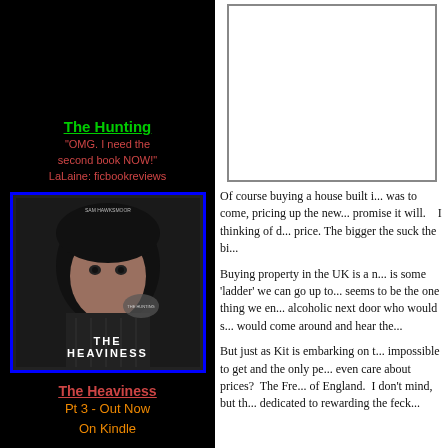The Hunting
"OMG. I need the second book NOW!" LaLaine: ficbookreviews
[Figure (photo): Book cover for 'The Heaviness' by Sam Hawksmoor showing a young woman's face]
The Heaviness
Pt 3 - Out Now
On Kindle
[Figure (other): White rectangle/image placeholder at top right]
Of course buying a house built i... was to come, pricing up the new... promise it will.    I thinking of d... price. The bigger the suck the bi...
Buying property in the UK is a n... is some 'ladder' we can go up to... seems to be the one thing we en... alcoholic next door who would s... would come around and hear the...
But just as Kit is embarking on t... impossible to get and the only pe... even care about prices?  The Fre... of England.  I don't mind, but th... dedicated to rewarding the feck...